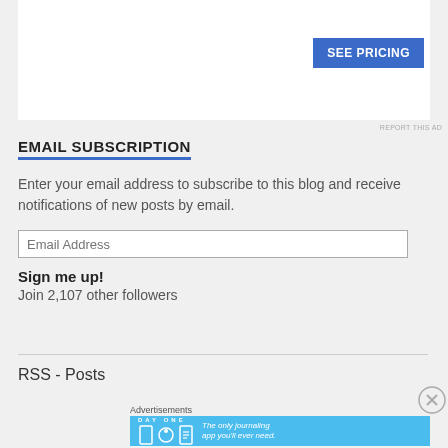[Figure (screenshot): Advertisement banner with 'SEE PRICING' button on white background]
EMAIL SUBSCRIPTION
Enter your email address to subscribe to this blog and receive notifications of new posts by email.
Email Address
Sign me up!
Join 2,107 other followers
RSS - Posts
Advertisements
[Figure (screenshot): Day One journaling app advertisement: 'The only journaling app you'll ever need.']